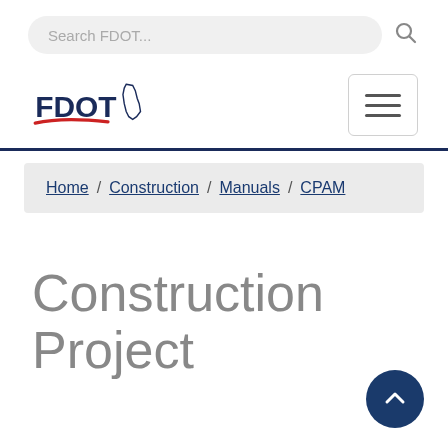[Figure (screenshot): FDOT website header with search bar, FDOT logo, and hamburger menu button]
Search FDOT...
[Figure (logo): FDOT logo with Florida state outline, bold FDOT text in navy blue, and red swoosh underline]
Home / Construction / Manuals / CPAM
Construction Project